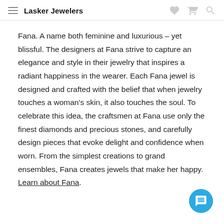Lasker Jewelers
Fana. A name both feminine and luxurious – yet blissful. The designers at Fana strive to capture an elegance and style in their jewelry that inspires a radiant happiness in the wearer. Each Fana jewel is designed and crafted with the belief that when jewelry touches a woman's skin, it also touches the soul. To celebrate this idea, the craftsmen at Fana use only the finest diamonds and precious stones, and carefully design pieces that evoke delight and confidence when worn. From the simplest creations to grand ensembles, Fana creates jewels that make her happy. Learn about Fana.